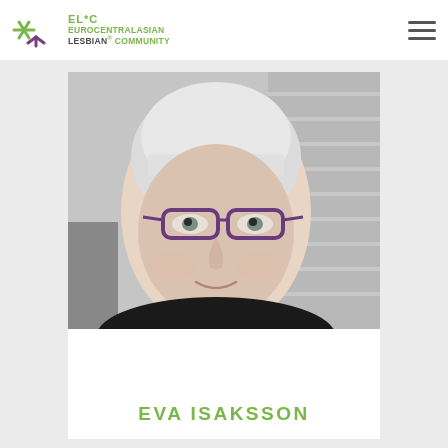EL*C Eurocentralasian Lesbian Community logo and navigation
[Figure (photo): Portrait photo of Eva Isaksson, an older woman with short white hair, wearing purple-framed glasses and a black top, photographed against a light background with horizontal blinds]
EVA ISAKSSON